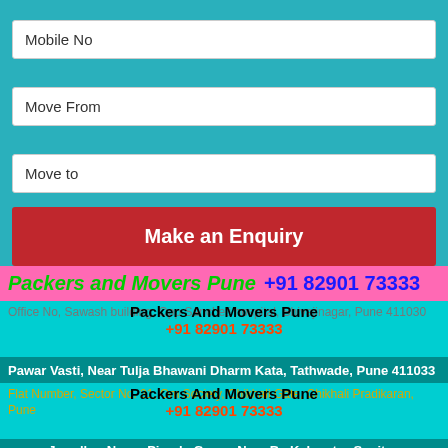Mobile No
Move From
Move to
Make an Enquiry
Packers and Movers Pune +91 82901 73333
Office No, Sawash building, Opp Sancheti hospital, Shivajinagar, Pune 411030 | Packers And Movers Pune +91 82901 73333
Pawar Vasti, Near Tulja Bhawani Dharm Kata, Tathwade, Pune 411033
Flat Number, Sector No. 21, Om Society, Chikhali Gate, Chikhali Pradikaran, Pune | Packers And Movers Pune +91 82901 73333
Jawalkar Nagar Pimple Gurav, Near By Kalapatru Socitey
Euro India Logistics Movers Packers